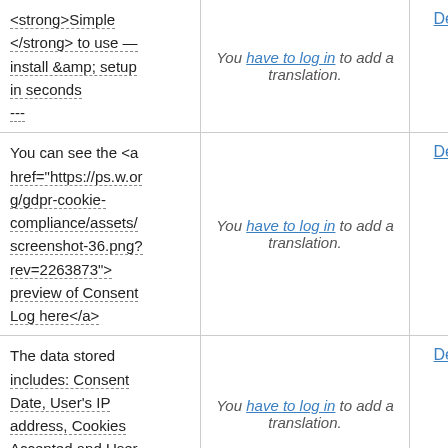| Source | Translation | Action |
| --- | --- | --- |
| <strong>Simple </strong> to use — install &amp; setup in seconds | You have to log in to add a translation. | Details |
| You can see the <a href="https://ps.wordpress.org/gdpr-cookie-compliance/assets/screenshot-36.png?rev=2263873"> preview of Consent Log here</a> | You have to log in to add a translation. | Details |
| The data stored includes: Consent Date, User's IP address, Cookies Accepted and User Email (for logged in | You have to log in to add a translation. | Details |